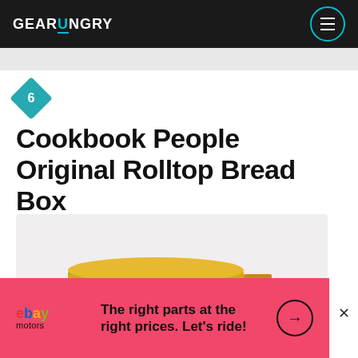GEARHUNGRY
6
Cookbook People Original Rolltop Bread Box
[Figure (photo): Golden/wooden rolltop bread box with 'BREADS' text on the front, shown at an angle on a light grey background]
The right parts at the right prices. Let's ride!